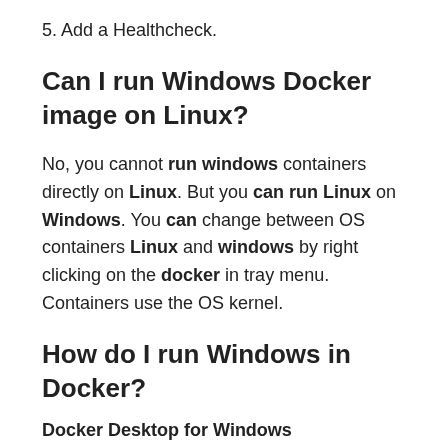5. Add a Healthcheck.
Can I run Windows Docker image on Linux?
No, you cannot run windows containers directly on Linux. But you can run Linux on Windows. You can change between OS containers Linux and windows by right clicking on the docker in tray menu. Containers use the OS kernel.
How do I run Windows in Docker?
Docker Desktop for Windows
1. Get Docker Desktop for Windows. Get Docker Desktop for Windows.